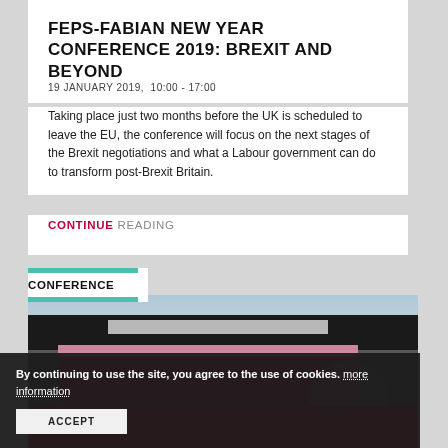FEPS-FABIAN NEW YEAR CONFERENCE 2019: BREXIT AND BEYOND
19 JANUARY 2019,  10:00 - 17:00
Taking place just two months before the UK is scheduled to leave the EU, the conference will focus on the next stages of the Brexit negotiations and what a Labour government can do to transform post-Brexit Britain.
CONTINUE READING
CONFERENCE
[Figure (photo): Conference photo showing a stage with a red Fabian banner and speaker at a podium]
By continuing to use the site, you agree to the use of cookies. more information
ACCEPT